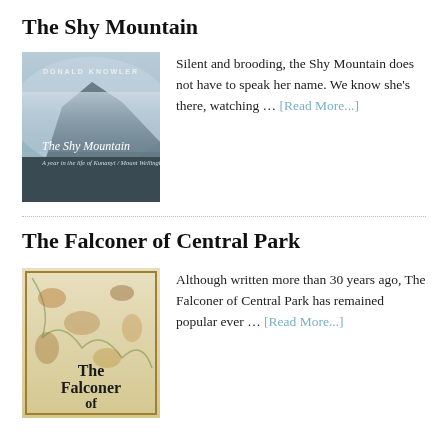The Shy Mountain
[Figure (illustration): Book cover of 'The Shy Mountain' by Donald Knowler showing a misty mountain with text 'The Shy Mountain - A year in the life of Kunanyi / Mount Wellington']
Silent and brooding, the Shy Mountain does not have to speak her name. We know she's there, watching … [Read More...]
The Falconer of Central Park
[Figure (illustration): Book cover of 'The Falconer of Central Park' showing illustrated birds and animals on a decorative background]
Although written more than 30 years ago, The Falconer of Central Park has remained popular ever … [Read More...]